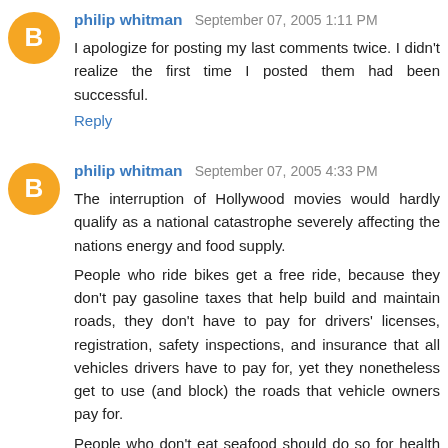philip whitman September 07, 2005 1:11 PM
I apologize for posting my last comments twice. I didn't realize the first time I posted them had been successful.
Reply
philip whitman September 07, 2005 4:33 PM
The interruption of Hollywood movies would hardly qualify as a national catastrophe severely affecting the nations energy and food supply.
People who ride bikes get a free ride, because they don't pay gasoline taxes that help build and maintain roads, they don't have to pay for drivers' licenses, registration, safety inspections, and insurance that all vehicles drivers have to pay for, yet they nonetheless get to use (and block) the roads that vehicle owners pay for.
People who don't eat seafood should do so for health reasons, but by not doing so they make the demand for other food higher and the demand for seafood lower, so it all comes out in the wash. Should people who have no